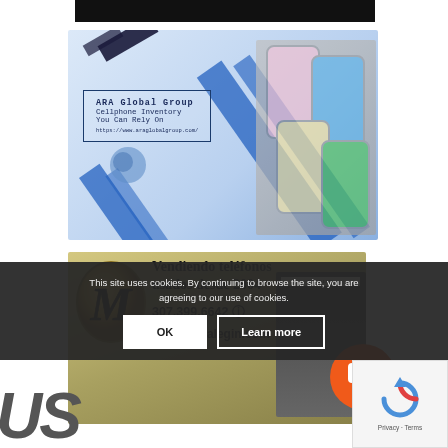[Figure (illustration): ARA Global Group banner ad — blue geometric diagonal shapes on light blue background, text box with company name 'ARA Global Group', taglines 'Cellphone Inventory You Can Rely On', website URL, and photos of smartphones on the right side.]
[Figure (illustration): Macalegin banner ad — golden/olive background with stylized M logo on the left, bold text 'Vendiendo teléfonos usados desde 2004', phone number '307.399.6642' with WhatsApp icon, website 'www.macalegin.com', and image of a magazine/newspaper on the right.]
This site uses cookies. By continuing to browse the site, you are agreeing to our use of cookies.
OK
Learn more
[Figure (logo): Google reCAPTCHA widget showing circular arrow logo and 'Privacy - Terms' text below]